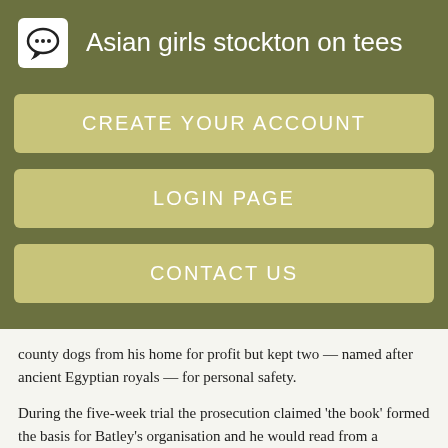Asian girls stockton on tees
CREATE YOUR ACCOUNT
LOGIN PAGE
CONTACT US
county dogs from his home for profit but kept two — named after ancient Egyptian royals — for personal safety.
During the five-week trial the prosecution claimed 'the book' formed the basis for Batley's organisation and he would read from a laminated copy of it while dressed in hooded robes at the start of orgies.
Forty-two people have been charged during a police